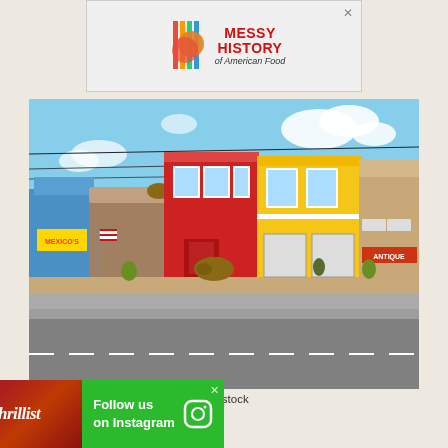[Figure (infographic): Advertisement banner for 'Messy History of American Food' with colorful logo and Statue of Liberty illustration]
[Figure (photo): Street scene of colorful shop fronts in Cottonwood, Arizona. Buildings painted in blue, red, yellow, and tan with antique and gift shops. Vintage sculptures and decorations on sidewalk. Blue sky with clouds in background.]
Cottonwood, Arizona | EQRoy/Shutterstock
[Figure (infographic): Thrillist advertisement: 'Follow us on Instagram' with strawberry food background, thrillist logo on left, Instagram camera icon on right]